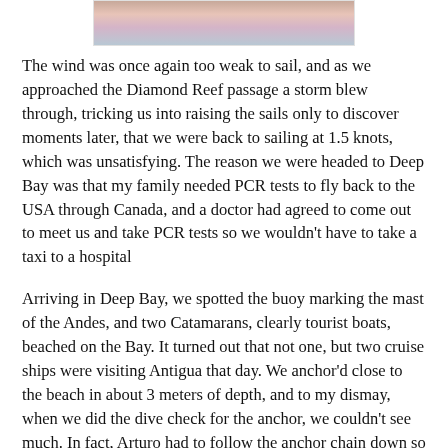[Figure (photo): Partial photo visible at top of page, appears to show people or figures, cropped]
The wind was once again too weak to sail, and as we approached the Diamond Reef passage a storm blew through, tricking us into raising the sails only to discover moments later, that we were back to sailing at 1.5 knots, which was unsatisfying. The reason we were headed to Deep Bay was that my family needed PCR tests to fly back to the USA through Canada, and a doctor had agreed to come out to meet us and take PCR tests so we wouldn't have to take a taxi to a hospital
Arriving in Deep Bay, we spotted the buoy marking the mast of the Andes, and two Catamarans, clearly tourist boats, beached on the Bay. It turned out that not one, but two cruise ships were visiting Antigua that day. We anchor'd close to the beach in about 3 meters of depth, and to my dismay, when we did the dive check for the anchor, we couldn't see much. In fact, Arturo had to follow the anchor chain down so I could spot where it was!
We lowered the dinghy. The guidebook had a section